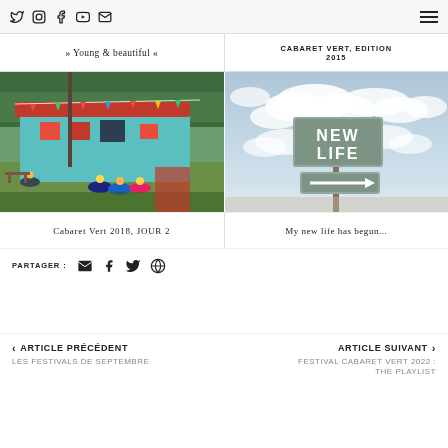Social icons: Twitter, Instagram, Facebook, YouTube, Email | Hamburger menu
» Young & beautiful «
CABARET VERT, EDITION 2015
[Figure (photo): Outdoor festival scene with colorful wooden structure, people sitting on grass]
[Figure (photo): Sky with clouds and a road sign reading NEW LIFE with an arrow pointing right]
Cabaret Vert 2018, JOUR 2
My new life has begun...
PARTAGER: (email, facebook, twitter, wordpress icons)
< ARTICLE PRÉCÉDENT | LES FESTIVALS DE SEPTEMBRE | > ARTICLE SUIVANT | FESTIVAL CABARET VERT 2022 : THE PLAYLIST